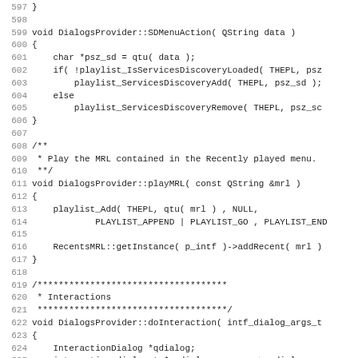[Figure (screenshot): Source code listing in monospace font showing C++ code for DialogsProvider class methods, lines 597-628+, including SDMenuAction, playMRL, and doInteraction functions.]